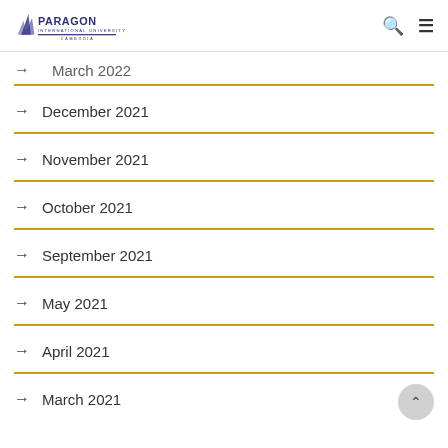Paragon International University
March 2022
December 2021
November 2021
October 2021
September 2021
May 2021
April 2021
March 2021